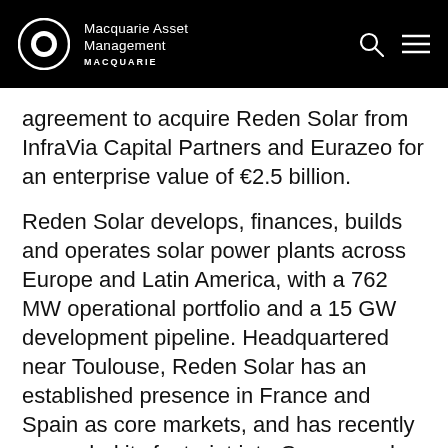Macquarie Asset Management
agreement to acquire Reden Solar from InfraVia Capital Partners and Eurazeo for an enterprise value of €2.5 billion.
Reden Solar develops, finances, builds and operates solar power plants across Europe and Latin America, with a 762 MW operational portfolio and a 15 GW development pipeline. Headquartered near Toulouse, Reden Solar has an established presence in France and Spain as core markets, and has recently expanded its footprint into Greece and Italy.